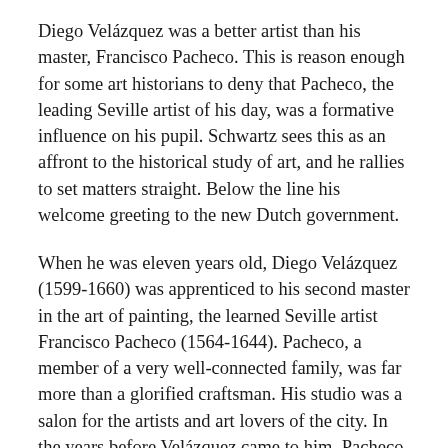Diego Velázquez was a better artist than his master, Francisco Pacheco. This is reason enough for some art historians to deny that Pacheco, the leading Seville artist of his day, was a formative influence on his pupil. Schwartz sees this as an affront to the historical study of art, and he rallies to set matters straight. Below the line his welcome greeting to the new Dutch government.
When he was eleven years old, Diego Velázquez (1599-1660) was apprenticed to his second master in the art of painting, the learned Seville artist Francisco Pacheco (1564-1644). Pacheco, a member of a very well-connected family, was far more than a glorified craftsman. His studio was a salon for the artists and art lovers of the city. In the years before Velázquez came to him, Pacheco executed his most ambitious work, a multi-panelled ceiling in the Casa de Pilatos, the city residence of the Duchess of Medinaceli.